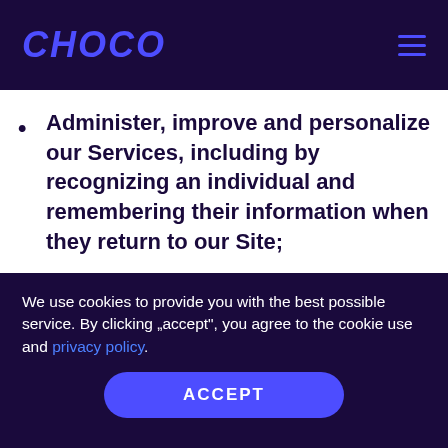CHOCO
Administer, improve and personalize our Services, including by recognizing an individual and remembering their information when they return to our Site;
Operate, maintain and provide the features and functionality of the
We use cookies to provide you with the best possible service. By clicking „accept", you agree to the cookie use and privacy policy.
ACCEPT